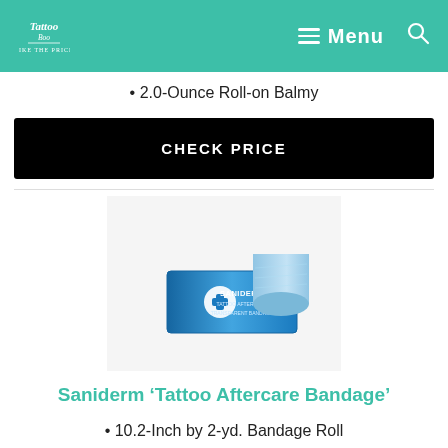Tattoo Boo — Like The Price | Menu | Search
2.0-Ounce Roll-on Balmy
CHECK PRICE
[Figure (photo): Product photo of Saniderm Tattoo Aftercare Bandage roll on a light background]
Saniderm 'Tattoo Aftercare Bandage'
10.2-Inch by 2-yd. Bandage Roll
Anti-bacterial and Latex-free
CHECK PRICE